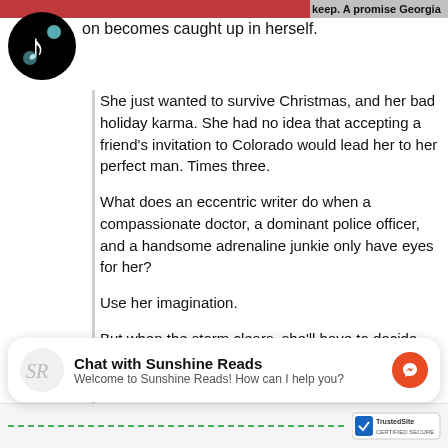[Figure (screenshot): Top bar with red area and partial text 'keep. A promise Georgia']
[Figure (logo): TikTok logo - black circle with musical note icon in teal and white]
on becomes caught up in herself.
She just wanted to survive Christmas, and her bad holiday karma. She had no idea that accepting a friend's invitation to Colorado would lead her to her perfect man. Times three.
What does an eccentric writer do when a compassionate doctor, a dominant police officer, and a handsome adrenaline junkie only have eyes for her?
Use her imagination.
But when the storm clears, she'll have to decide which path to take. The way back home, or the road less traveled.
amazon
[Figure (infographic): Chat with Sunshine Reads widget showing SR logo avatar, title 'Chat with Sunshine Reads', subtitle 'Welcome to Sunshine Reads! How can I help you?', and orange Messenger icon]
Dashed green line and TrustedSite badge